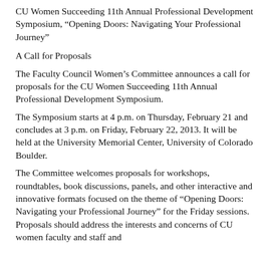CU Women Succeeding 11th Annual Professional Development Symposium, “Opening Doors: Navigating Your Professional Journey”
A Call for Proposals
The Faculty Council Women’s Committee announces a call for proposals for the CU Women Succeeding 11th Annual Professional Development Symposium.
The Symposium starts at 4 p.m. on Thursday, February 21 and concludes at 3 p.m. on Friday, February 22, 2013. It will be held at the University Memorial Center, University of Colorado Boulder.
The Committee welcomes proposals for workshops, roundtables, book discussions, panels, and other interactive and innovative formats focused on the theme of “Opening Doors: Navigating your Professional Journey” for the Friday sessions. Proposals should address the interests and concerns of CU women faculty and staff and...